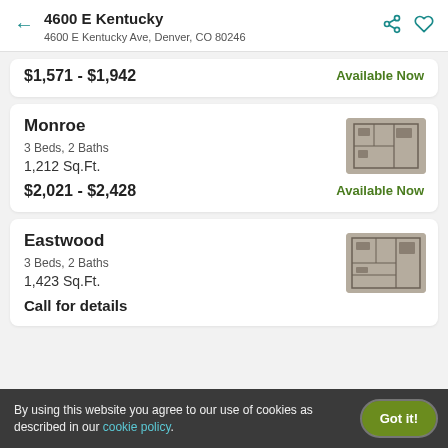4600 E Kentucky
4600 E Kentucky Ave, Denver, CO 80246
$1,571 - $1,942   Available Now
Monroe
3 Beds, 2 Baths
1,212 Sq.Ft.
$2,021 - $2,428   Available Now
[Figure (photo): Floor plan thumbnail for Monroe unit]
Eastwood
3 Beds, 2 Baths
1,423 Sq.Ft.
Call for details
[Figure (photo): Floor plan thumbnail for Eastwood unit]
By using this website you agree to our use of cookies as described in our cookie policy.